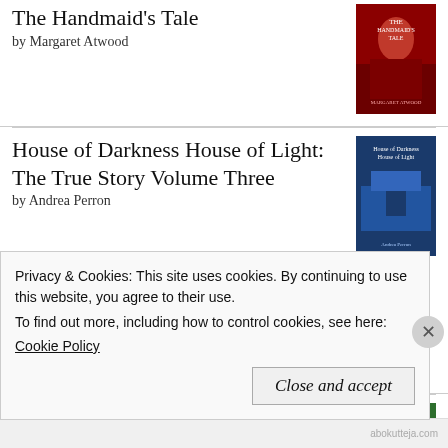The Handmaid's Tale
by Margaret Atwood
[Figure (illustration): Book cover of The Handmaid's Tale - dark red cover with figure]
House of Darkness House of Light: The True Story Volume Three
by Andrea Perron
[Figure (illustration): Book cover of House of Darkness House of Light Volume Three - blue cover]
I decided to read all three books before writing a review, so that I really knew what I thought. This haunting has always interested me, and I wanted to hear more about it from an insider's point of view at long last - just to see what t...
House of Darkness House of Light: The True Story Volume T...
[Figure (illustration): Book cover of House of Darkness House of Light - green cover with house]
Privacy & Cookies: This site uses cookies. By continuing to use this website, you agree to their use.
To find out more, including how to control cookies, see here: Cookie Policy
Close and accept